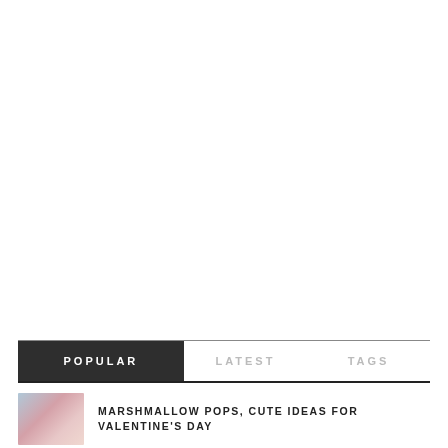POPULAR | LATEST | TAGS
[Figure (photo): Small thumbnail photo of marshmallow pops with pink and floral decoration]
MARSHMALLOW POPS, CUTE IDEAS FOR VALENTINE'S DAY